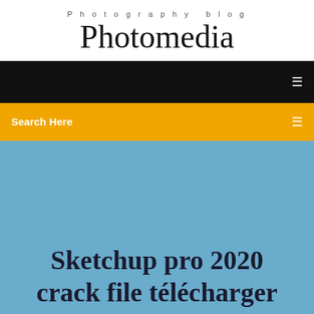Photography blog
Photomedia
[Figure (screenshot): Black navigation bar with a small white menu icon on the right]
Search Here
Sketchup pro 2020 crack file télécharger